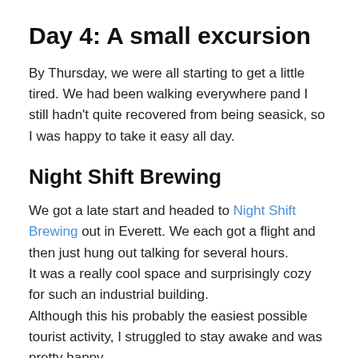Day 4: A small excursion
By Thursday, we were all starting to get a little tired. We had been walking everywhere pand I still hadn't quite recovered from being seasick, so I was happy to take it easy all day.
Night Shift Brewing
We got a late start and headed to Night Shift Brewing out in Everett. We each got a flight and then just hung out talking for several hours.
It was a really cool space and surprisingly cozy for such an industrial building.
Although this his probably the easiest possible tourist activity, I struggled to stay awake and was pretty happy